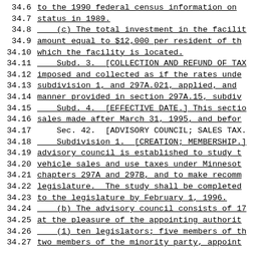34.6   to the 1990 federal census information on
34.7   status in 1989.
34.8       (c) The total investment in the facilit
34.9   amount equal to $12,000 per resident of th
34.10  which the facility is located.
34.11      Subd. 3.  [COLLECTION AND REFUND OF TAX
34.12  imposed and collected as if the rates unde
34.13  subdivision 1, and 297A.021, applied, and
34.14  manner provided in section 297A.15, subdiv
34.15      Subd. 4.  [EFFECTIVE DATE.]  This sectio
34.16  sales made after March 31, 1995, and befor
34.17      Sec. 42.  [ADVISORY COUNCIL; SALES TAX.
34.18      Subdivision 1.  [CREATION; MEMBERSHIP.]
34.19  advisory council is established to study t
34.20  vehicle sales and use taxes under Minnesot
34.21  chapters 297A and 297B, and to make recomm
34.22  legislature.  The study shall be completed
34.23  to the legislature by February 1, 1996.
34.24      (b) The advisory council consists of 17
34.25  at the pleasure of the appointing authorit
34.26      (1) ten legislators; five members of th
34.27  two members of the minority party, appoint